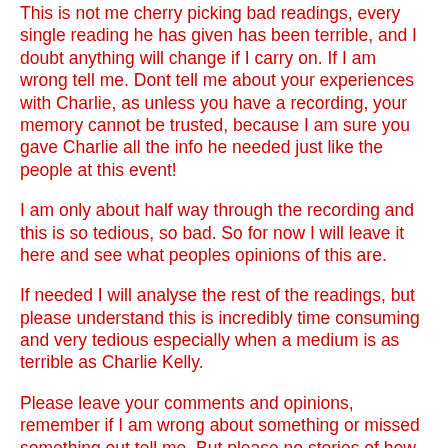This is not me cherry picking bad readings, every single reading he has given has been terrible, and I doubt anything will change if I carry on. If I am wrong tell me. Dont tell me about your experiences with Charlie, as unless you have a recording, your memory cannot be trusted, because I am sure you gave Charlie all the info he needed just like the people at this event!
I am only about half way through the recording and this is so tedious, so bad. So for now I will leave it here and see what peoples opinions of this are.
If needed I will analyse the rest of the readings, but please understand this is incredibly time consuming and very tedious especially when a medium is as terrible as Charlie Kelly.
Please leave your comments and opinions, remember if I am wrong about something or missed something out tell me. But please no stories of how great Charlie is unless you can provide me proof with a recording.